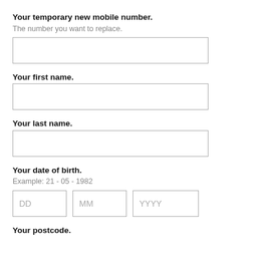Your temporary new mobile number.
The number you want to replace.
Your first name.
Your last name.
Your date of birth.
Example: 21 - 05 - 1982
Your postcode.